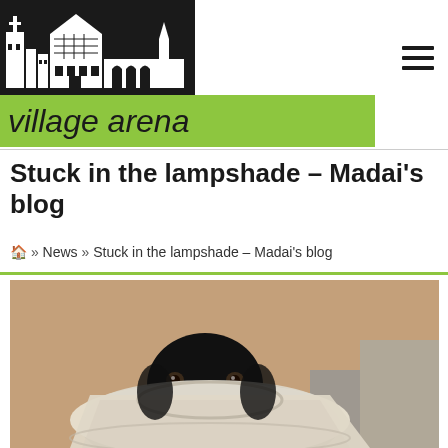CHURCH MINSHULL village arena
Stuck in the lampshade – Madai's blog
🏠 » News » Stuck in the lampshade – Madai's blog
[Figure (photo): A black Labrador dog wearing a large white plastic Elizabethan collar (cone of shame / lampshade) lying on a grey surface, photographed from the front.]